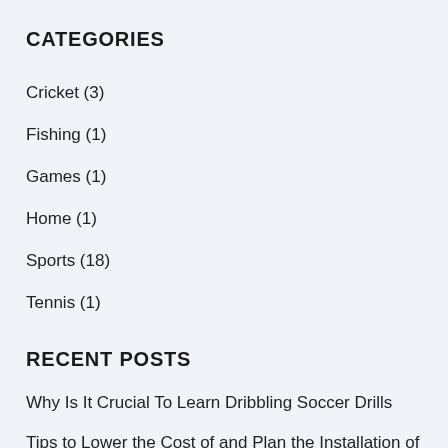CATEGORIES
Cricket (3)
Fishing (1)
Games (1)
Home (1)
Sports (18)
Tennis (1)
RECENT POSTS
Why Is It Crucial To Learn Dribbling Soccer Drills
Tips to Lower the Cost of and Plan the Installation of Your Deck
Why You Should Experience Horse Racing This